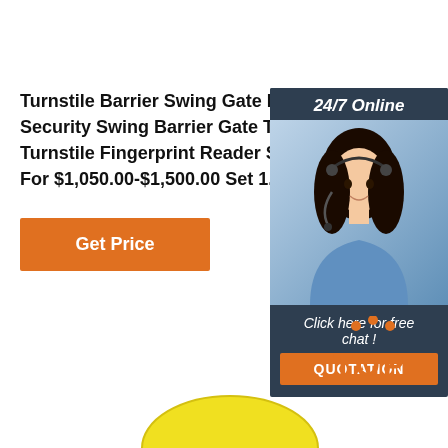Turnstile Barrier Swing Gate For Convenience And Security Swing Barrier Gate Turnstile Swing Barrier Turnstile Fingerprint Reader Swing Barrier Gate Turnstile For $1,050.00-$1,500.00 Set 1.0 Sets (Min. Order)
[Figure (other): Orange 'Get Price' button]
[Figure (other): 24/7 Online chat widget with woman in headset, 'Click here for free chat!' text, and orange QUOTATION button]
[Figure (logo): Orange TOP icon with dots above the letters T, O, P]
[Figure (other): Yellow arc/circle at bottom of page]